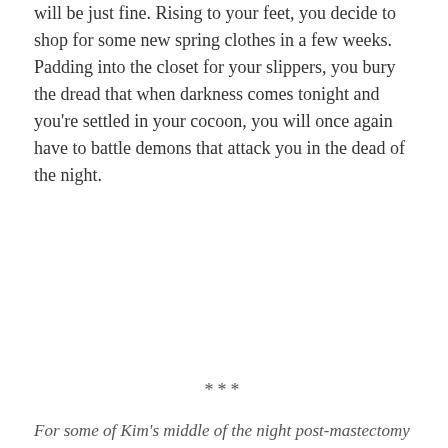will be just fine. Rising to your feet, you decide to shop for some new spring clothes in a few weeks. Padding into the closet for your slippers, you bury the dread that when darkness comes tonight and you're settled in your cocoon, you will once again have to battle demons that attack you in the dead of the night.
***
For some of Kim's middle of the night post-mastectomy thoughts – A Little Farther
[Figure (photo): Photo of a person (Jane) standing in front of a brick wall with a teal/light blue curtain or backdrop visible behind them. Only the head and upper body are visible.]
Jane